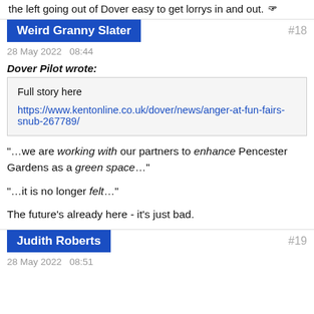the left going out of Dover easy to get lorrys in and out.
Weird Granny Slater #18
28 May 2022  08:44
Dover Pilot wrote:
Full story here

https://www.kentonline.co.uk/dover/news/anger-at-fun-fairs-snub-267789/
"...we are working with our partners to enhance Pencester Gardens as a green space..."
"...it is no longer felt..."
The future's already here - it's just bad.
Judith Roberts #19
28 May 2022  08:51